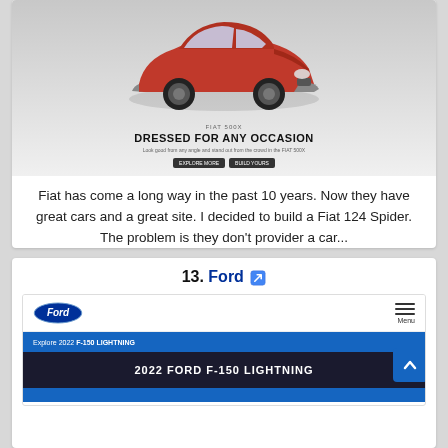[Figure (screenshot): Screenshot of Fiat website showing a red Fiat 500X crossover car with the headline 'DRESSED FOR ANY OCCASION' and subtitle text]
Fiat has come a long way in the past 10 years. Now they have great cars and a great site. I decided to build a Fiat 124 Spider. The problem is they don't provider a car...
13. Ford
[Figure (screenshot): Screenshot of Ford website showing the Ford logo, navigation menu, blue banner reading 'Explore 2022 F-150 LIGHTNING', and dark section with '2022 FORD F-150 LIGHTNING' text]